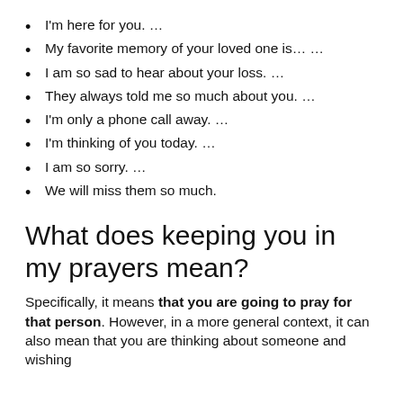I'm here for you. …
My favorite memory of your loved one is… …
I am so sad to hear about your loss. …
They always told me so much about you. …
I'm only a phone call away. …
I'm thinking of you today. …
I am so sorry. …
We will miss them so much.
What does keeping you in my prayers mean?
Specifically, it means that you are going to pray for that person. However, in a more general context, it can also mean that you are thinking about someone and wishing